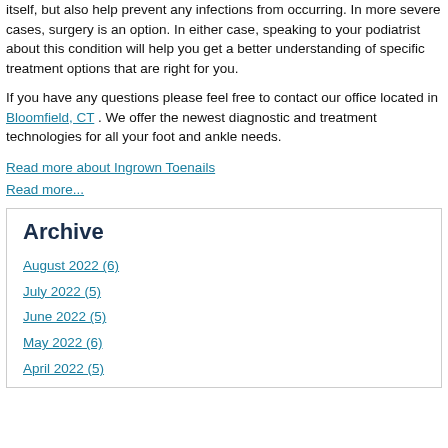itself, but also help prevent any infections from occurring. In more severe cases, surgery is an option. In either case, speaking to your podiatrist about this condition will help you get a better understanding of specific treatment options that are right for you.
If you have any questions please feel free to contact our office located in Bloomfield, CT . We offer the newest diagnostic and treatment technologies for all your foot and ankle needs.
Read more about Ingrown Toenails
Read more...
Archive
August 2022 (6)
July 2022 (5)
June 2022 (5)
May 2022 (6)
April 2022 (5)